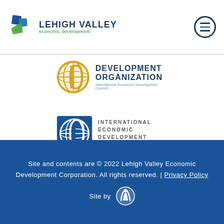[Figure (logo): Lehigh Valley Economic Development logo with geometric blue/green diamond shape and text]
[Figure (logo): IEDC Development Organization logo - gold globe with D shape and text]
[Figure (logo): International Economic Development Council logo - blue globe with D shape]
[Figure (logo): Pennsylvania Work Smart. Live Happy. logo]
Site and contents are © 2022 Lehigh Valley Economic Development Corporation. All rights reserved. | Privacy Policy
Site by [logo]